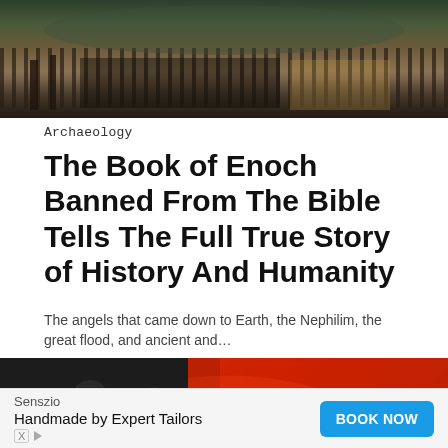[Figure (photo): Dark atmospheric photo showing a crowd of figures with flags near water, historical battle scene]
Archaeology
The Book of Enoch Banned From The Bible Tells The Full True Story of History And Humanity
The angels that came down to Earth, the Nephilim, the great flood, and ancient and…
[Figure (photo): Two police or military officers in riot gear holding equipment, large red flag or banner visible in background]
Senszio
Handmade by Expert Tailors
BOOK NOW